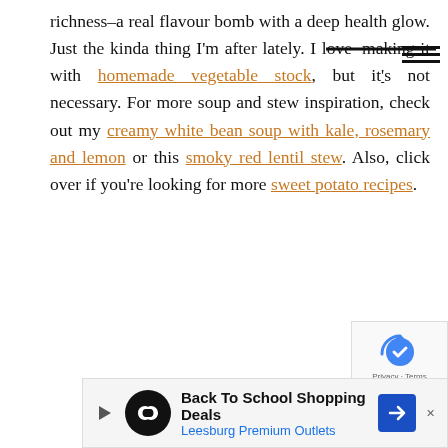richness–a real flavour bomb with a deep health glow. Just the kinda thing I'm after lately. I love making it with homemade vegetable stock, but it's not necessary. For more soup and stew inspiration, check out my creamy white bean soup with kale, rosemary and lemon or this smoky red lentil stew. Also, click over if you're looking for more sweet potato recipes.
[Figure (other): Advertisement banner for Leesburg Premium Outlets Back To School Shopping Deals]